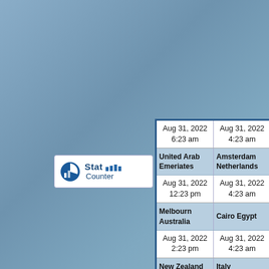[Figure (logo): StatCounter logo with icon and text 'Stat Counter' with bar chart icon]
| Aug 31, 2022
6:23 am | Aug 31, 2022
4:23 am |
| United Arab
Emeriates | Amsterdam
Netherlands |
| Aug 31, 2022
12:23 pm | Aug 31, 2022
4:23 am |
| Melbourn
Australia | Cairo Egypt |
| Aug 31, 2022
2:23 pm | Aug 31, 2022
4:23 am |
| New Zealand | Italy |